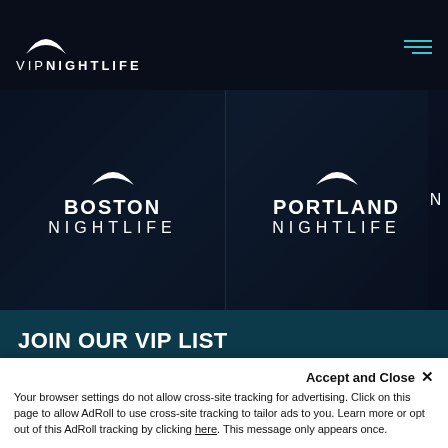[Figure (logo): VIP Nightlife logo with crescent moon above text VIPNIGHTLIFE on dark navy background]
[Figure (screenshot): Banner showing Boston Nightlife and Portland Nightlife city tiles with crescent moon logos on dark background]
JOIN OUR VIP LIST
Receive the best deals & free tickets to events in your area!
First Name
Accept and Close ✕
Your browser settings do not allow cross-site tracking for advertising. Click on this page to allow AdRoll to use cross-site tracking to tailor ads to you. Learn more or opt out of this AdRoll tracking by clicking here. This message only appears once.